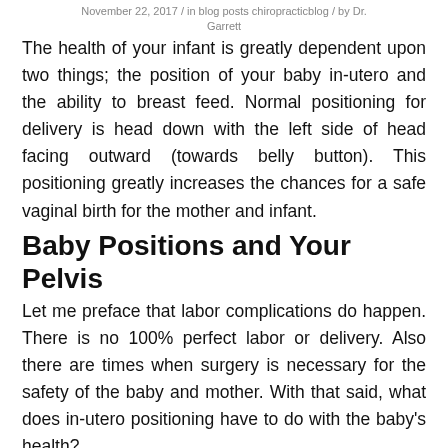November 22, 2017 / in blog posts chiropracticblog / by Dr. Garrett
The health of your infant is greatly dependent upon two things; the position of your baby in-utero and the ability to breast feed. Normal positioning for delivery is head down with the left side of head facing outward (towards belly button). This positioning greatly increases the chances for a safe vaginal birth for the mother and infant.
Baby Positions and Your Pelvis
Let me preface that labor complications do happen. There is no 100% perfect labor or delivery. Also there are times when surgery is necessary for the safety of the baby and mother. With that said, what does in-utero positioning have to do with the baby's health?